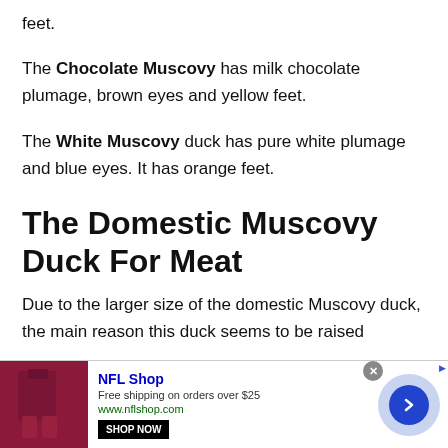feet.
The Chocolate Muscovy has milk chocolate plumage, brown eyes and yellow feet.
The White Muscovy duck has pure white plumage and blue eyes. It has orange feet.
The Domestic Muscovy Duck For Meat
Due to the larger size of the domestic Muscovy duck, the main reason this duck seems to be raised
[Figure (infographic): Advertisement banner for NFL Shop showing red item image, NFL Shop title in blue, 'Free shipping on orders over $25', 'www.nflshop.com', 'SHOP NOW' button, close X button, and a blue arrow circle on the right.]